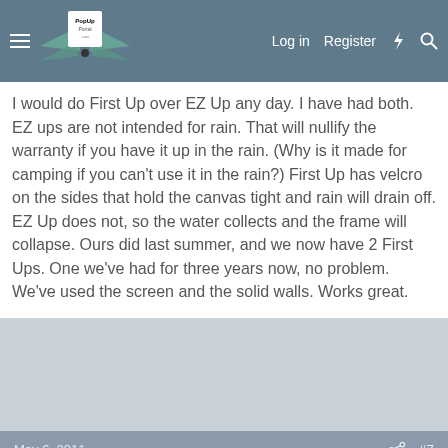PopUp Portal .com — Log in  Register
I would do First Up over EZ Up any day. I have had both. EZ ups are not intended for rain. That will nullify the warranty if you have it up in the rain. (Why is it made for camping if you can't use it in the rain?) First Up has velcro on the sides that hold the canvas tight and rain will drain off. EZ Up does not, so the water collects and the frame will collapse. Ours did last summer, and we now have 2 First Ups. One we've had for three years now, no problem.
We've used the screen and the solid walls. Works great.
May 6, 2011
#7
RFryer
Hopkinton, MA